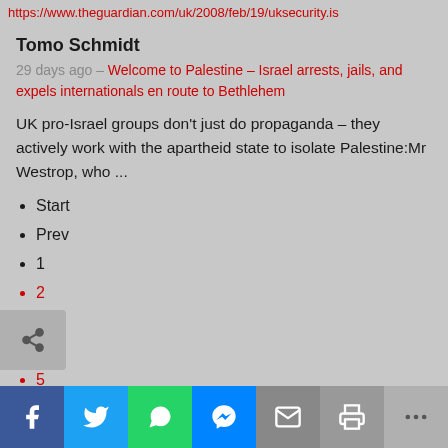https://www.theguardian.com/uk/2008/feb/19/uksecurity.is
Tomo Schmidt
29 days ago – Welcome to Palestine – Israel arrests, jails, and expels internationals en route to Bethlehem
UK pro-Israel groups don't just do propaganda – they actively work with the apartheid state to isolate Palestine:Mr Westrop, who ...
Start
Prev
1
2
3
4
5
6